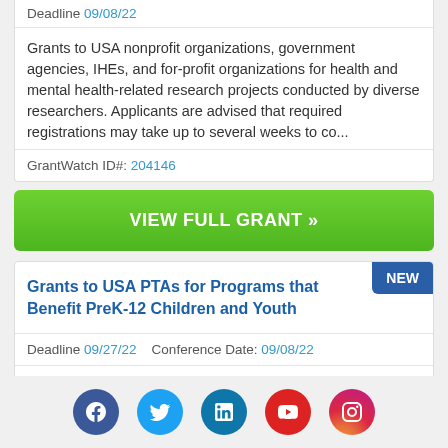Deadline 09/08/22
Grants to USA nonprofit organizations, government agencies, IHEs, and for-profit organizations for health and mental health-related research projects conducted by diverse researchers. Applicants are advised that required registrations may take up to several weeks to co...
GrantWatch ID#: 204146
VIEW FULL GRANT »
Grants to USA PTAs for Programs that Benefit PreK-12 Children and Youth
Deadline 09/27/22   Conference Date: 09/08/22
Grants to USA parent teachers associations for programs and initiatives that emphasize literacy, STEM-related
[Figure (infographic): Social media icons: Facebook (blue circle), Twitter (light blue circle), LinkedIn (teal circle), YouTube (red circle), Instagram (gradient circle)]